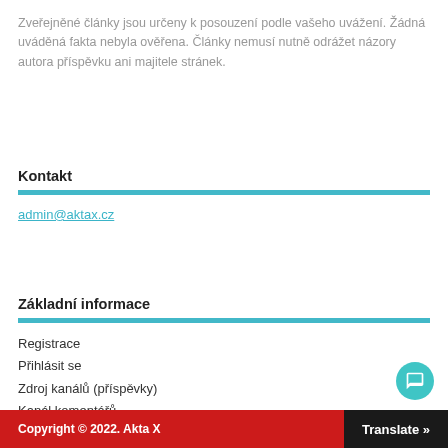Zveřejněné články jsou určeny k posouzení podle vašeho uvážení. Žádná uváděná fakta nebyla ověřena. Články nemusí nutně odrážet názory autora příspěvku ani majitele stránek.
Kontakt
admin@aktax.cz
Základní informace
Registrace
Přihlásit se
Zdroj kanálů (příspěvky)
Kanál komentářů
Česká lokalizace
Copyright © 2022. Akta X    Translate »